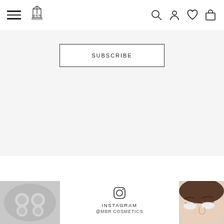MBR Cosmetics website navigation header with hamburger menu, MBR logo, search, account, wishlist, and cart icons
SUBSCRIBE
[Figure (screenshot): Gray background subscribe section with a SUBSCRIBE button in a rectangular outline]
[Figure (photo): Left: close-up of cosmetic product bowl with circular wells. Right: woman with closed eyes and white eye patches applied to face under eye area.]
INSTAGRAM
@MBR COSMETICS